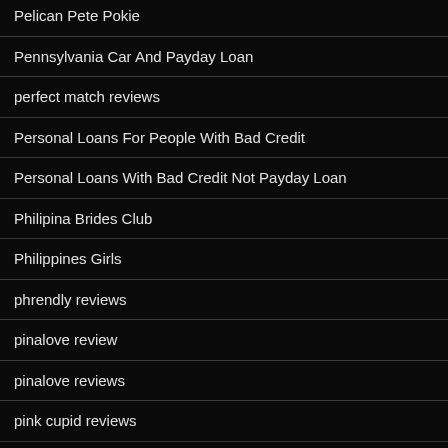Pelican Pete Pokie
Pennsylvania Car And Payday Loan
perfect match reviews
Personal Loans For People With Bad Credit
Personal Loans With Bad Credit Not Payday Loan
Philipina Brides Club
Philippines Girls
phrendly reviews
pinalove review
pinalove reviews
pink cupid reviews
Planet 7 Oz Review
planetromeo reviews